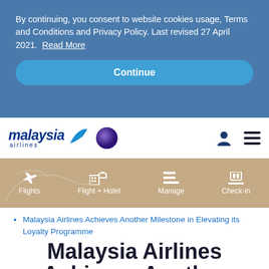By continuing, you consent to website cookies usage, Terms and Conditions and Privacy Policy. Last revised 27 April 2021. Read More
Continue
[Figure (logo): Malaysia Airlines logo with blue stylized kite/plane icon and oneworld alliance globe icon]
[Figure (infographic): Navigation bar with tan/gold background showing Flights, Flight + Hotel, Manage, and Check-in icons with labels]
Malaysia Airlines Achieves Another Milestone in Elevating its Loyalty Programme
Malaysia Airlines Achieves Another